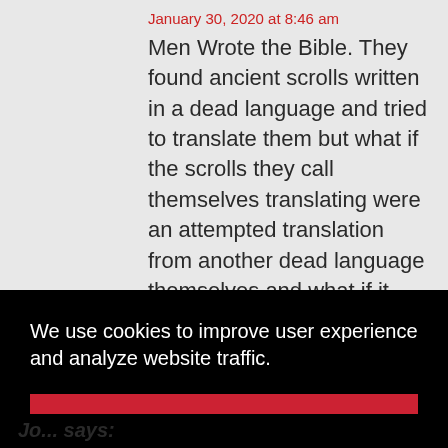January 30, 2020 at 8:46 am
Men Wrote the Bible. They found ancient scrolls written in a dead language and tried to translate them but what if the scrolls they call themselves translating were an attempted translation from another dead language themselves and what if it goes on and on. Knowing the possibilities how can people take the Bible as “Gospel”. Why so many
We use cookies to improve user experience and analyze website traffic.
Accept
Jo... says: